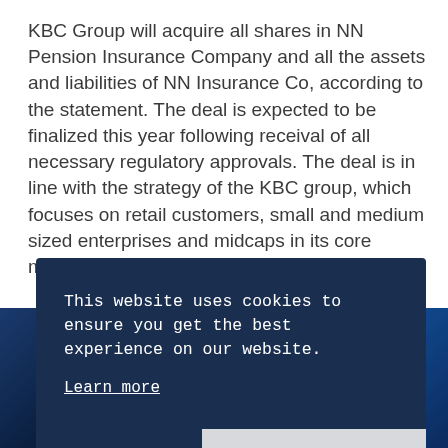KBC Group will acquire all shares in NN Pension Insurance Company and all the assets and liabilities of NN Insurance Co, according to the statement. The deal is expected to be finalized this year following receival of all necessary regulatory approvals. The deal is in line with the strategy of the KBC group, which focuses on retail customers, small and medium sized enterprises and midcaps in its core markets.
[Figure (screenshot): Cookie consent overlay on a dark navy background with text 'This website uses cookies to ensure you get the best experience on our website.' with a 'Learn more' link, and two buttons: 'Decline' and 'Allow cookies'. Below is a partial photo strip with dark blue tones.]